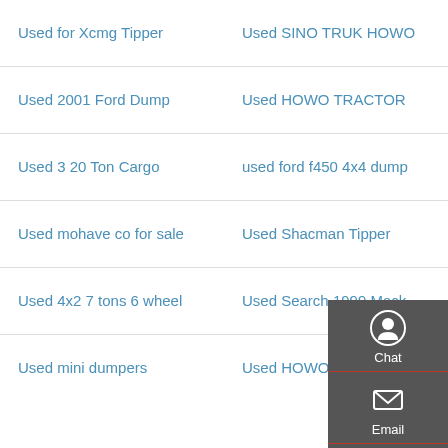Used for Xcmg Tipper
Used SINO TRUK HOWO
Used 2001 Ford Dump
Used HOWO TRACTOR
Used 3 20 Ton Cargo
used ford f450 4x4 dump
Used mohave co for sale
Used Shacman Tipper
Used 4x2 7 tons 6 wheel
Used Search 1999 Mack
Used mini dumpers
Used HOWO 6X4 336HP
[Figure (infographic): Dark grey overlay panel on right side with Chat, Email, Contact, and Top navigation icons in white on dark grey background with red dividers.]